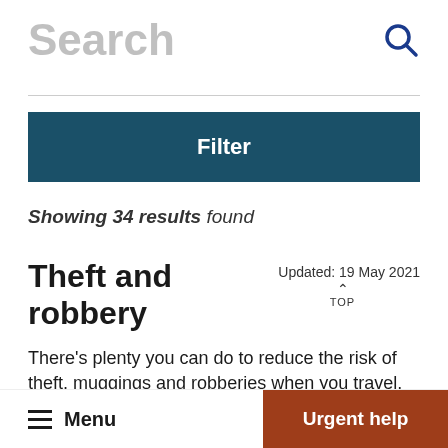Search
Showing 34 results found
Theft and robbery
Updated: 19 May 2021
There's plenty you can do to reduce the risk of theft, muggings and robberies when you travel.
Menu  Urgent help